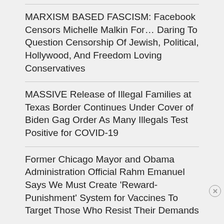MARXISM BASED FASCISM: Facebook Censors Michelle Malkin For… Daring To Question Censorship Of Jewish, Political, Hollywood, And Freedom Loving Conservatives
MASSIVE Release of Illegal Families at Texas Border Continues Under Cover of Biden Gag Order As Many Illegals Test Positive for COVID-19
Former Chicago Mayor and Obama Administration Official Rahm Emanuel Says We Must Create 'Reward-Punishment' System for Vaccines To Target Those Who Resist Their Demands
Employers face liability by requiring COVID shots
Advertisements
[Figure (photo): Macy's advertisement banner reading 'KISS BORING LIPS GOODBYE' with a SHOP NOW button and Macy's logo, featuring a woman's face with red lips]